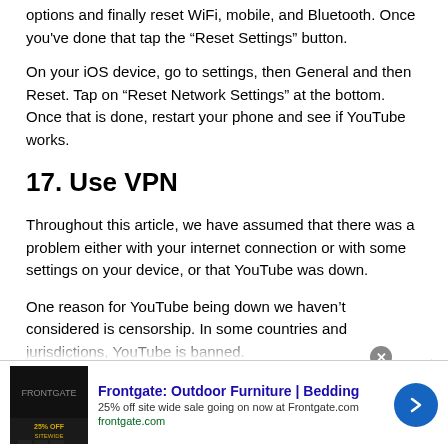options and finally reset WiFi, mobile, and Bluetooth. Once you've done that tap the “Reset Settings” button.
On your iOS device, go to settings, then General and then Reset. Tap on “Reset Network Settings” at the bottom. Once that is done, restart your phone and see if YouTube works.
17. Use VPN
Throughout this article, we have assumed that there was a problem either with your internet connection or with some settings on your device, or that YouTube was down.
One reason for YouTube being down we haven’t considered is censorship. In some countries and jurisdictions, YouTube is banned. You will not be able to access YouTube if residing in a country...
[Figure (screenshot): Advertisement banner for Frontgate: Outdoor Furniture | Bedding. 25% off site wide sale going on now at Frontgate.com. frontgate.com]